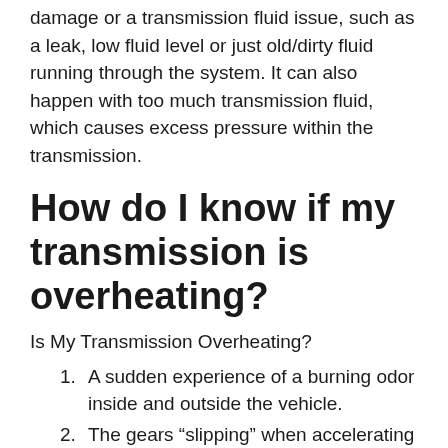damage or a transmission fluid issue, such as a leak, low fluid level or just old/dirty fluid running through the system. It can also happen with too much transmission fluid, which causes excess pressure within the transmission.
How do I know if my transmission is overheating?
Is My Transmission Overheating?
A sudden experience of a burning odor inside and outside the vehicle.
The gears “slipping” when accelerating or decelerating.
A feeling of hesitation or delayed gear shift when you are driving.